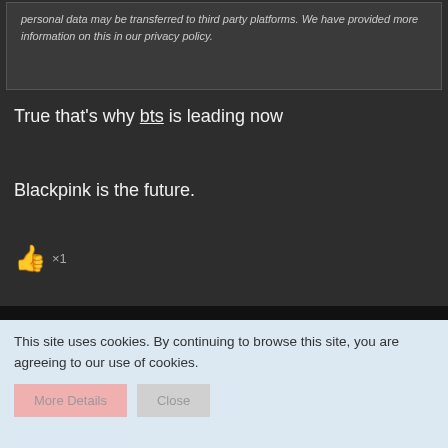personal data may be transferred to third party platforms. We have provided more information on this in our privacy policy.
True that's why bts is leading now
Blackpink is the future.
👍 ×1
[Figure (screenshot): User profile card with crown avatar image, username HardcoreBLINK in stylized font, orange SelfMade badge, and red scroll buttons on right]
This site uses cookies. By continuing to browse this site, you are agreeing to our use of cookies.